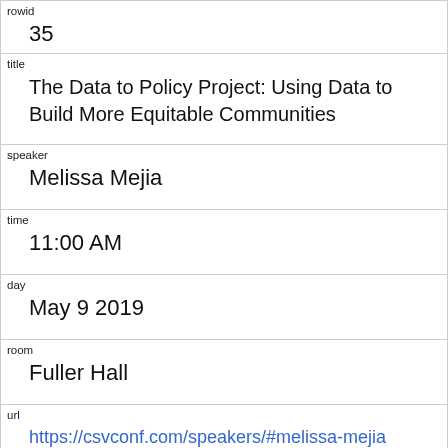| field | value |
| --- | --- |
| rowid | 35 |
| title | The Data to Policy Project: Using Data to Build More Equitable Communities |
| speaker | Melissa Mejia |
| time | 11:00 AM |
| day | May 9 2019 |
| room | Fuller Hall |
| url | https://csvconf.com/speakers/#melissa-mejia |
| datetime | 2019-05-09T11:00:00 |
| abstract | The Data to Policy Project (D2P) is an initiative creating meaningful learning experiences for students by using analysis of open data to generate... |